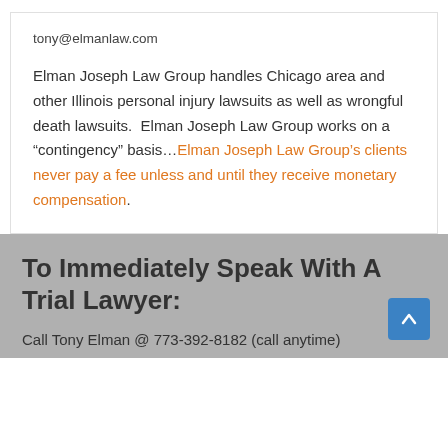tony@elmanlaw.com
Elman Joseph Law Group handles Chicago area and other Illinois personal injury lawsuits as well as wrongful death lawsuits.  Elman Joseph Law Group works on a “contingency” basis…Elman Joseph Law Group’s clients never pay a fee unless and until they receive monetary compensation.
To Immediately Speak With A Trial Lawyer:
Call Tony Elman @ 773-392-8182 (call anytime)